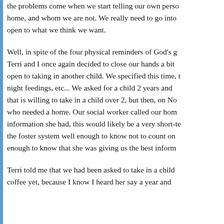the problems come when we start telling our own person home, and whom we are not. We really need to go into open to what we think we want.
Well, in spite of the four physical reminders of God's go Terri and I once again decided to close our hands a bit open to taking in another child. We specified this time, th night feedings, etc... We asked for a child 2 years and o that is willing to take in a child over 2, but then, on Nov who needed a home. Our social worker called our home information she had, this would likely be a very short-ter the foster system well enough to know not to count on s enough to know that she was giving us the best informa
Terri told me that we had been asked to take in a child coffee yet, because I know I heard her say a year and